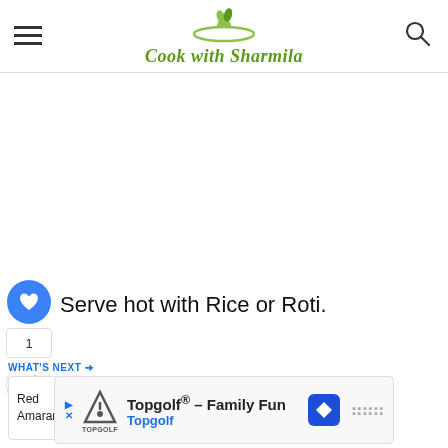Cook with Sharmila
Serve hot with Rice or Roti.
WHAT'S NEXT →
Red Amaranthus...
[Figure (screenshot): Advertisement banner: Topgolf® - Family Fun, Topgolf]